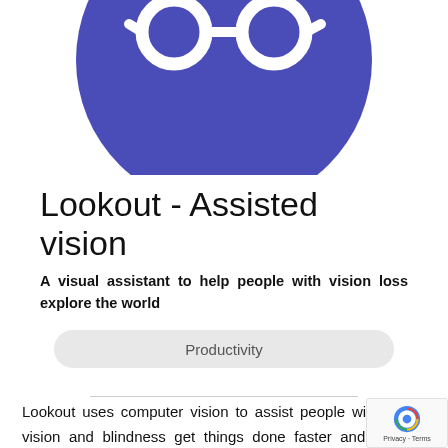[Figure (logo): Lookout app logo — blue circle with white eye/glasses symbol on top, partially cropped at top]
Lookout - Assisted vision
A visual assistant to help people with vision loss explore the world
Productivity
Lookout uses computer vision to assist people with low vision and blindness get things done faster and more easily. Using your phone's camera, Lookout makes it easier to get more information